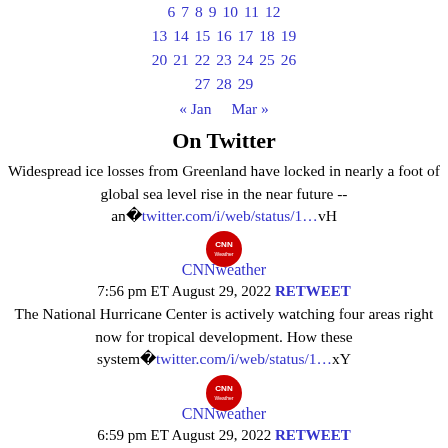6 7 8 9 10 11 12
13 14 15 16 17 18 19
20 21 22 23 24 25 26
27 28 29
« Jan   Mar »
On Twitter
Widespread ice losses from Greenland have locked in nearly a foot of global sea level rise in the near future -- an�twitter.com/i/web/status/1…vH
CNNweather
7:56 pm ET August 29, 2022 RETWEET
The National Hurricane Center is actively watching four areas right now for tropical development. How these system�twitter.com/i/web/status/1…xY
CNNweather
6:59 pm ET August 29, 2022 RETWEET
As record-setting rain and rising river waters threaten to seep into their homes, residents in Jackson, Mississippi�twitter.com/i/web/status/1…10